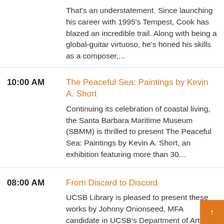That's an understatement. Since launching his career with 1995's Tempest, Cook has blazed an incredible trail. Along with being a global-guitar virtuoso, he's honed his skills as a composer,...
10:00 AM — The Peaceful Sea: Paintings by Kevin A. Short — Continuing its celebration of coastal living, the Santa Barbara Maritime Museum (SBMM) is thrilled to present The Peaceful Sea: Paintings by Kevin A. Short, an exhibition featuring more than 30...
08:00 AM — From Discard to Discord — UCSB Library is pleased to present these works by Johnny Onionseed, MFA candidate in UCSB's Department of Art. The mall goes on to say the...